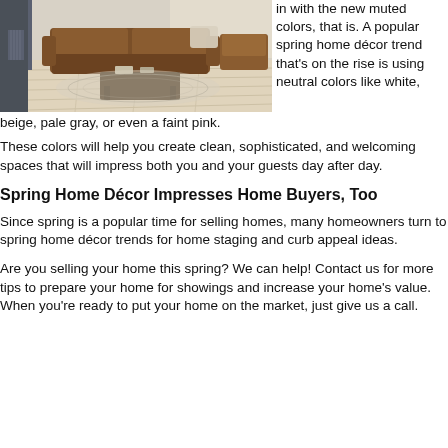[Figure (photo): Interior room with hardwood floors, a brown leather sofa, armchair, area rug, and a coffee table.]
in with the new muted colors, that is. A popular spring home décor trend that's on the rise is using neutral colors like white, beige, pale gray, or even a faint pink.
These colors will help you create clean, sophisticated, and welcoming spaces that will impress both you and your guests day after day.
Spring Home Décor Impresses Home Buyers, Too
Since spring is a popular time for selling homes, many homeowners turn to spring home décor trends for home staging and curb appeal ideas.
Are you selling your home this spring? We can help! Contact us for more tips to prepare your home for showings and increase your home's value. When you're ready to put your home on the market, just give us a call.